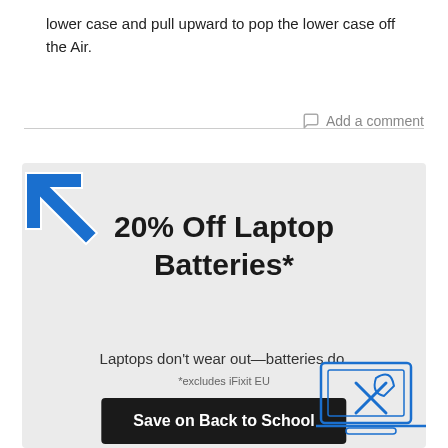lower case and pull upward to pop the lower case off the Air.
Add a comment
[Figure (infographic): iFixit advertisement banner with blue arrow icon, bold headline '20% Off Laptop Batteries*', subtext 'Laptops don’t wear out—batteries do.', footnote '*excludes iFixit EU', and a dark button 'Save on Back to School'. Blue line drawing of laptop with tools in bottom right corner.]